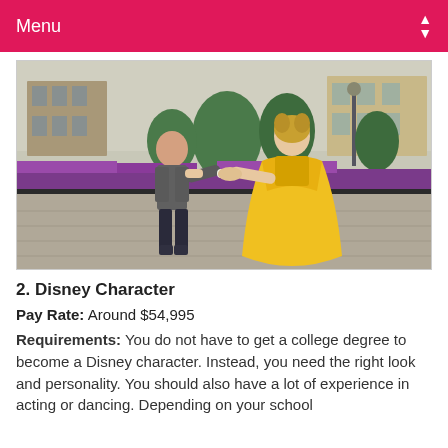Menu
[Figure (photo): A person dressed as a Disney character (Belle in yellow gown) dancing with a man in casual clothing at a Disney theme park, with character topiary sculptures in the background.]
2. Disney Character
Pay Rate: Around $54,995
Requirements: You do not have to get a college degree to become a Disney character. Instead, you need the right look and personality. You should also have a lot of experience in acting or dancing. Depending on your school